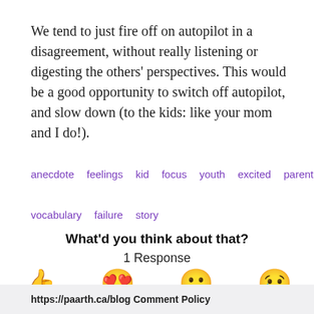We tend to just fire off on autopilot in a disagreement, without really listening or digesting the others' perspectives. This would be a good opportunity to switch off autopilot, and slow down (to the kids: like your mom and I do!).
anecdote   feelings   kid   focus   youth   excited   parent
vocabulary   failure   story
What'd you think about that?
1 Response
[Figure (infographic): Four emoji reaction buttons: thumbs up (Decent), heart-eyes face (Amazing), surprised face (Insightful), crying face (Meh, can be better)]
https://paarth.ca/blog Comment Policy